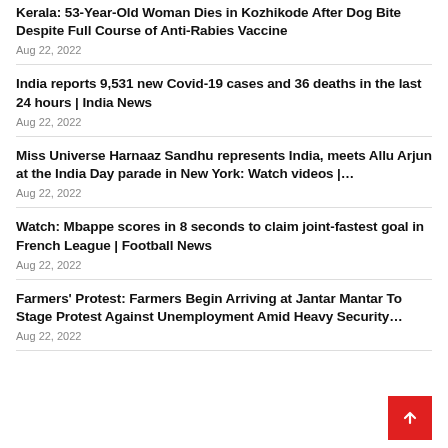Kerala: 53-Year-Old Woman Dies in Kozhikode After Dog Bite Despite Full Course of Anti-Rabies Vaccine
Aug 22, 2022
India reports 9,531 new Covid-19 cases and 36 deaths in the last 24 hours | India News
Aug 22, 2022
Miss Universe Harnaaz Sandhu represents India, meets Allu Arjun at the India Day parade in New York: Watch videos |…
Aug 22, 2022
Watch: Mbappe scores in 8 seconds to claim joint-fastest goal in French League | Football News
Aug 22, 2022
Farmers' Protest: Farmers Begin Arriving at Jantar Mantar To Stage Protest Against Unemployment Amid Heavy Security…
Aug 22, 2022